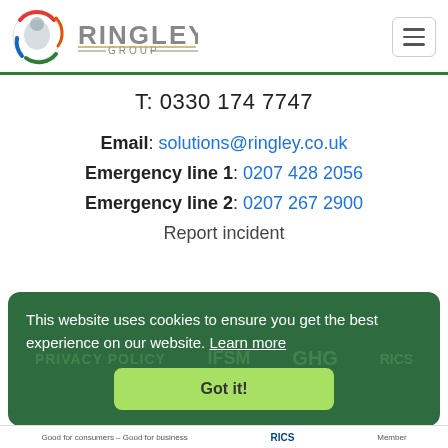[Figure (logo): Ringley Group logo with colorful circular emblem and gray/gold text]
T: 0330 174 7747
Email: solutions@ringley.co.uk
Emergency line 1: 0207 428 2056
Emergency line 2: 0207 267 2900
Report incident
This website uses cookies to ensure you get the best experience on our website. Learn more
Got it!
Good for consumers - Good for business  RICS  Member